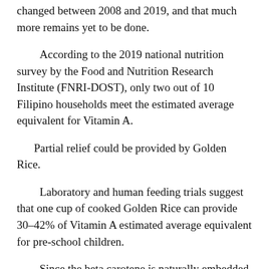changed between 2008 and 2019, and that much more remains yet to be done.
According to the 2019 national nutrition survey by the Food and Nutrition Research Institute (FNRI-DOST), only two out of 10 Filipino households meet the estimated average equivalent for Vitamin A.
Partial relief could be provided by Golden Rice.
Laboratory and human feeding trials suggest that one cup of cooked Golden Rice can provide 30–42% of Vitamin A estimated average equivalent for pre-school children.
Since the beta carotene is naturally embedded in the GR grain, the needed essential nutrient comes at no additional cost and effort to the consumer, a significant benefit to poor households.